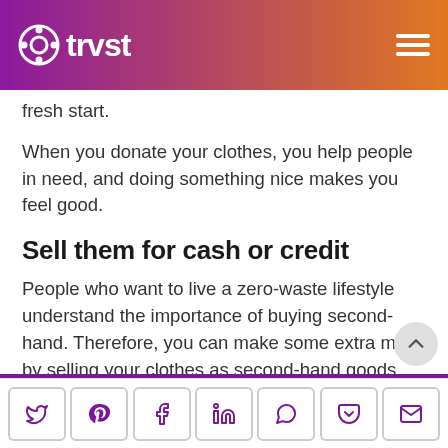trvst
fresh start.
When you donate your clothes, you help people in need, and doing something nice makes you feel good.
Sell them for cash or credit
People who want to live a zero-waste lifestyle understand the importance of buying second-hand. Therefore, you can make some extra mo... by selling your clothes as second-hand goods